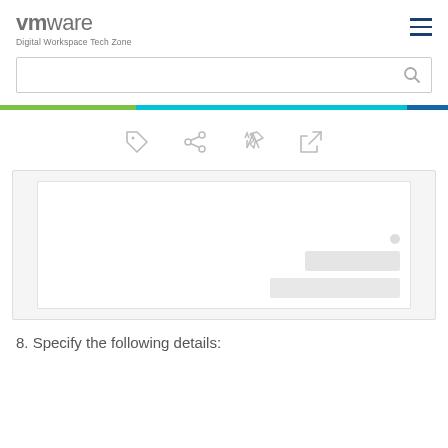vmware Digital Workspace Tech Zone
[Figure (screenshot): VMware Digital Workspace Tech Zone website header with search bar, hamburger menu, and colored banner bar]
[Figure (infographic): Toolbar icons: tag, share, pin/bookmark, and expand/external link icons]
[Figure (screenshot): Screenshot placeholder showing a UI dialog or form with gray box elements]
8. Specify the following details: